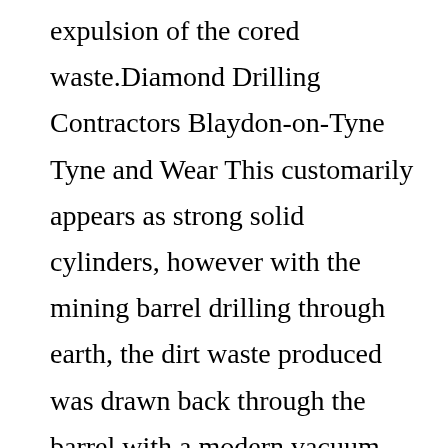expulsion of the cored waste.Diamond Drilling Contractors Blaydon-on-Tyne Tyne and Wear This customarily appears as strong solid cylinders, however with the mining barrel drilling through earth, the dirt waste produced was drawn back through the barrel with a modern vacuum.

The accomplishment of this shows jewel boring in the hands of expert precious stone boring organizations can be an adaptable and financially savvy answer for irregular issues.